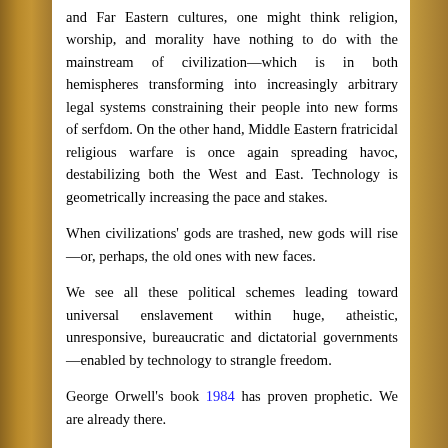and Far Eastern cultures, one might think religion, worship, and morality have nothing to do with the mainstream of civilization—which is in both hemispheres transforming into increasingly arbitrary legal systems constraining their people into new forms of serfdom. On the other hand, Middle Eastern fratricidal religious warfare is once again spreading havoc, destabilizing both the West and East. Technology is geometrically increasing the pace and stakes.
When civilizations' gods are trashed, new gods will rise—or, perhaps, the old ones with new faces.
We see all these political schemes leading toward universal enslavement within huge, atheistic, unresponsive, bureaucratic and dictatorial governments—enabled by technology to strangle freedom.
George Orwell's book 1984 has proven prophetic. We are already there.
But, in truth, we don't really know what's coming next. And